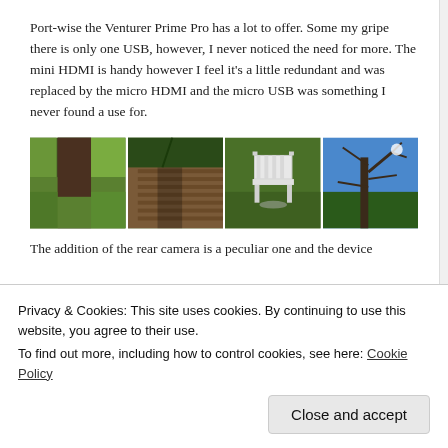Port-wise the Venturer Prime Pro has a lot to offer. Some my gripe there is only one USB, however, I never noticed the need for more. The mini HDMI is handy however I feel it's a little redundant and was replaced by the micro HDMI and the micro USB was something I never found a use for.
[Figure (photo): A horizontal strip of four outdoor photos showing: a tree trunk with green grass, a wooden deck with a shadow, a white garden chair on grass, and bare tree branches against blue sky.]
The addition of the rear camera is a peculiar one and the device
Privacy & Cookies: This site uses cookies. By continuing to use this website, you agree to their use.
To find out more, including how to control cookies, see here: Cookie Policy